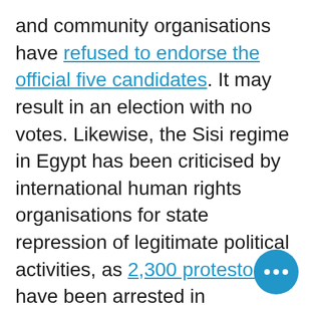and community organisations have refused to endorse the official five candidates. It may result in an election with no votes. Likewise, the Sisi regime in Egypt has been criticised by international human rights organisations for state repression of legitimate political activities, as 2,300 protestors have been arrested in September. The Arab Spring in 2011 did not bring the freedom aspired by people against tyrannical rule, however, the consequences of the social and political upheaval are reverberating across the Middle East, the future of which remains unclear. What does remain obvious is the protests will not go away until civilians are treated